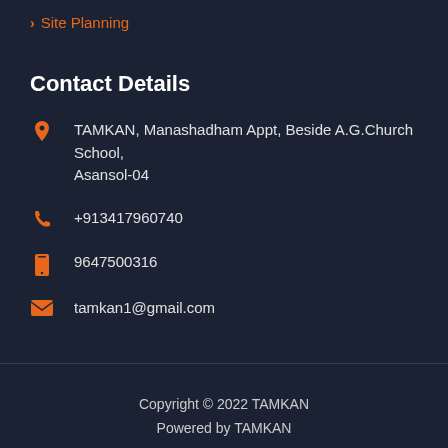Site Planning
Contact Details
TAMKAN, Manashadham Appt, Beside A.G.Church School, Asansol-04
+913417960740
9647500316
tamkan1@gmail.com
Copyright © 2022 TAMKAN
Powered by TAMKAN